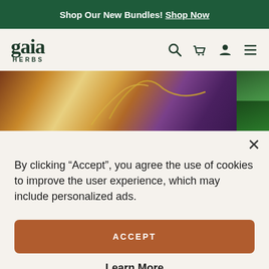Shop Our New Bundles! Shop Now
[Figure (logo): Gaia Herbs logo with stylized g and HERBS text]
[Figure (photo): Close-up of golden plant stems/tendrils against purple and warm bokeh background]
By clicking “Accept”, you agree the use of cookies to improve the user experience, which may include personalized ads.
ACCEPT
Learn More